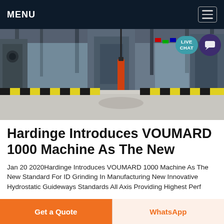MENU
[Figure (photo): Industrial manufacturing facility interior showing large machinery, overhead crane structures, black and yellow safety striped floor markings, gravel/aggregate material on the floor, and an orange mechanical arm or tool. Multiple international flags visible in background.]
Hardinge Introduces VOUMARD 1000 Machine As The New
Jan 20 2020Hardinge Introduces VOUMARD 1000 Machine As The New Standard For ID Grinding In Manufacturing New Innovative Hydrostatic Guideways Standards All Axis Providing Highest Perf...